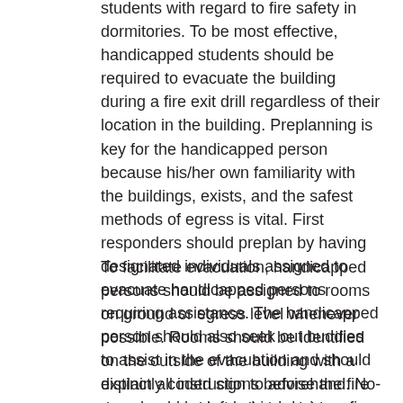students with regard to fire safety in dormitories. To be most effective, handicapped students should be required to evacuate the building during a fire exit drill regardless of their location in the building. Preplanning is key for the handicapped person because his/her own familiarity with the buildings, exists, and the safest methods of egress is vital. First responders should preplan by having designated individuals assigned to evacuate handicapped persons requiring assistance. The handicapped person should also seek out buddies to assist in the evacuation and should explain all instructions beforehand. No-one should be left behind during a fire exit drill or fire condition.
To facilitate evacuation, handicapped persons should be assigned to rooms on ground or egress level whenever possible. Rooms should be identified on the outside of the building with a distinctly coded sign to advise the fire department without distinguishing the student. If evacuation of a handicapped person is not possible, he/she should return to the room, close the door or proceed to